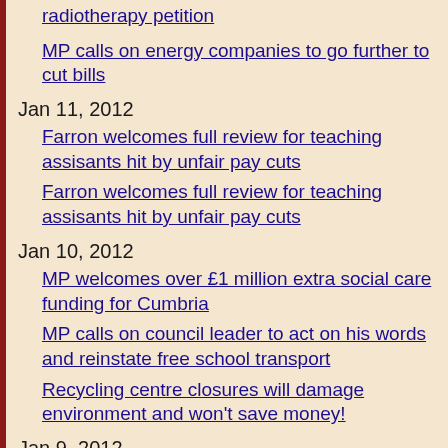radiotherapy petition
MP calls on energy companies to go further to cut bills
Jan 11, 2012
Farron welcomes full review for teaching assisants hit by unfair pay cuts
Farron welcomes full review for teaching assisants hit by unfair pay cuts
Jan 10, 2012
MP welcomes over £1 million extra social care funding for Cumbria
MP calls on council leader to act on his words and reinstate free school transport
Recycling centre closures will damage environment and won't save money!
Jan 9, 2012
MP tells government: 4G for Cumbria 'Make us the first'
Jan 6, 2012
Business backed youth contracts will bring more jobs to the South Lakeland says MP